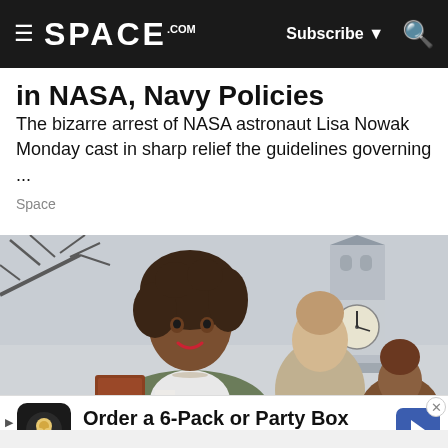SPACE.com — Subscribe | Search
in NASA, Navy Policies
The bizarre arrest of NASA astronaut Lisa Nowak Monday cast in sharp relief the guidelines governing ...
Space
[Figure (photo): A smiling woman with curly hair in a green cardigan standing outdoors with Big Ben clock tower in the background, along with other people.]
Order a 6-Pack or Party Box
Crumbl Cookies – Ashburn